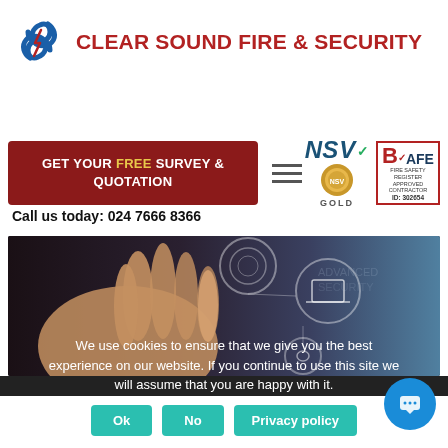[Figure (logo): Clear Sound Fire & Security logo with stylized blue S swirl and company name in dark red uppercase text]
[Figure (other): Dark red CTA button reading GET YOUR FREE SURVEY & QUOTATION, hamburger menu icon, NSV Gold certification badge, and BAFE ID: 302854 badge]
Call us today: 024 7666 8366
[Figure (photo): Hero image showing a hand pointing at digital security interface with fingerprint scan, laptop, and connected device icons on dark background]
We use cookies to ensure that we give you the best experience on our website. If you continue to use this site we will assume that you are happy with it.
[Figure (other): Three buttons: Ok, No, Privacy policy in teal/green color, and a blue chat bubble icon in bottom right]